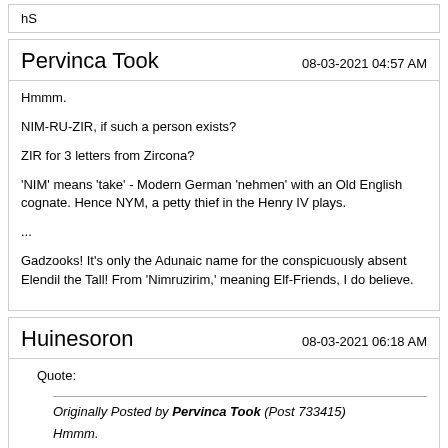hS
Pervinca Took   08-03-2021 04:57 AM
Hmmm.

NIM-RU-ZIR, if such a person exists?

ZIR for 3 letters from Zircona?

'NIM' means 'take' - Modern German 'nehmen' with an Old English cognate. Hence NYM, a petty thief in the Henry IV plays.

...

Gadzooks! It's only the Adunaic name for the conspicuously absent Elendil the Tall! From 'Nimruzirim,' meaning Elf-Friends, I do believe.
Huinesoron   08-03-2021 06:18 AM
Quote:

Originally Posted by Pervinca Took (Post 733415)
Hmmm.

NIM-RU-ZIR, if such a person exists?